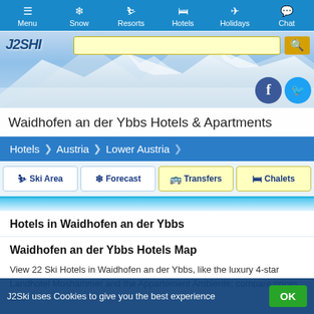Menu | Snow | Resorts | Hotels | Holidays | Chat
[Figure (screenshot): J2Ski website header with logo, search bar, and mountain hero image with Facebook and Twitter social icons]
Waidhofen an der Ybbs Hotels & Apartments
Hotels > Austria > Lower Austria
Ski Area | Forecast | Transfers | Chalets
Hotels in Waidhofen an der Ybbs
Waidhofen an der Ybbs Hotels Map
View 22 Ski Hotels in Waidhofen an der Ybbs, like the luxury 4-star Landhotel Moshammer and the Appartement Ambiente; compare prices and
J2Ski uses Cookies to give you the best experience